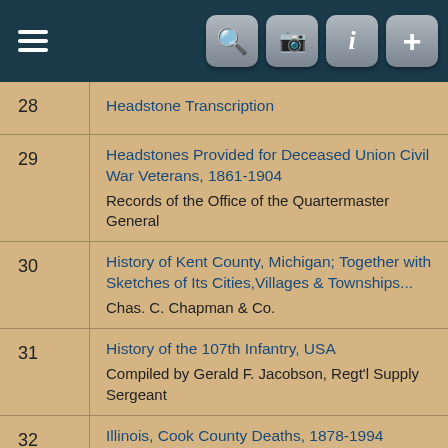Navigation bar with hamburger menu and icons
| # | Title / Source |
| --- | --- |
| 28 | Headstone Transcription |
| 29 | Headstones Provided for Deceased Union Civil War Veterans, 1861-1904
Records of the Office of the Quartermaster General |
| 30 | History of Kent County, Michigan; Together with Sketches of Its Cities,Villages & Townships...
Chas. C. Chapman & Co. |
| 31 | History of the 107th Infantry, USA
Compiled by Gerald F. Jacobson, Regt'l Supply Sergeant |
| 32 | Illinois, Cook County Deaths, 1878-1994
Cook County Courthouse |
| 33 | Illinois, Deaths & Stillbirths, 1916-1947
Public Board of Health, Archives, Springfield |